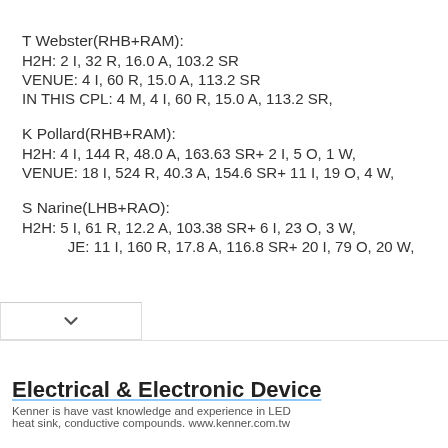T Webster(RHB+RAM):
H2H: 2 I, 32 R, 16.0 A, 103.2 SR
VENUE: 4 I, 60 R, 15.0 A, 113.2 SR
IN THIS CPL: 4 M, 4 I, 60 R, 15.0 A, 113.2 SR,
K Pollard(RHB+RAM):
H2H: 4 I, 144 R, 48.0 A, 163.63 SR+ 2 I, 5 O, 1 W,
VENUE: 18 I, 524 R, 40.3 A, 154.6 SR+ 11 I, 19 O, 4 W,
S Narine(LHB+RAO):
H2H: 5 I, 61 R, 12.2 A, 103.38 SR+ 6 I, 23 O, 3 W,
JE: 11 I, 160 R, 17.8 A, 116.8 SR+ 20 I, 79 O, 20 W,
Electrical & Electronic Device
Kenner is have vast knowledge and experience in LED heat sink, conductive compounds. www.kenner.com.tw
Contact Us